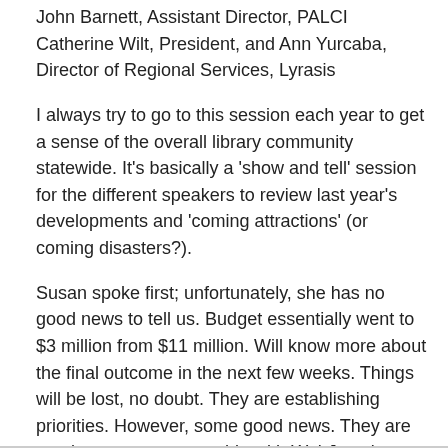John Barnett, Assistant Director, PALCI
Catherine Wilt, President, and Ann Yurcaba, Director of Regional Services, Lyrasis
I always try to go to this session each year to get a sense of the overall library community statewide. It's basically a 'show and tell' session for the different speakers to review last year's developments and 'coming attractions' (or coming disasters?).
Susan spoke first; unfortunately, she has no good news to tell us. Budget essentially went to $3 million from $11 million. Will know more about the final outcome in the next few weeks. Things will be lost, no doubt. They are establishing priorities. However, some good news. They are starting a state partnership with WebJunction. Will